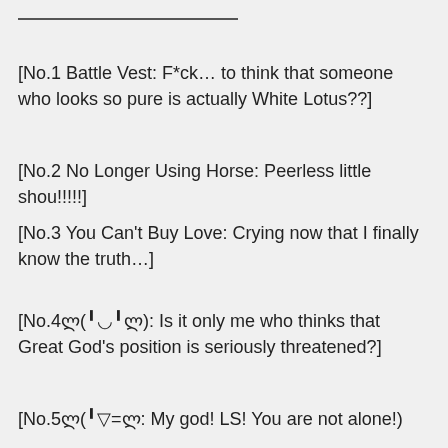[No.1 Battle Vest: F*ck… to think that someone who looks so pure is actually White Lotus??]
[No.2 No Longer Using Horse: Peerless little shou!!!!!]
[No.3 You Can't Buy Love: Crying now that I finally know the truth…]
[No.4ლ(╹◡╹ლ): Is it only me who thinks that Great God's position is seriously threatened?]
[No.5ლ(╹▽╹ლ: My god! LS! You are not alone!)